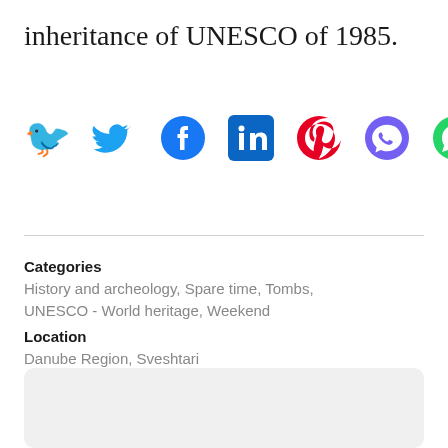inheritance of UNESCO of 1985.
[Figure (infographic): Social media share icons: Twitter (blue bird), Facebook (blue circle with f), LinkedIn (teal square with in), Pinterest (red circle with P), Viber (purple speech bubble), WhatsApp (green circle with phone)]
Categories
History and archeology, Spare time, Tombs, UNESCO - World heritage, Weekend
Location
Danube Region, Sveshtari
[Figure (map): Map area placeholder box with rounded corners and light gray background]